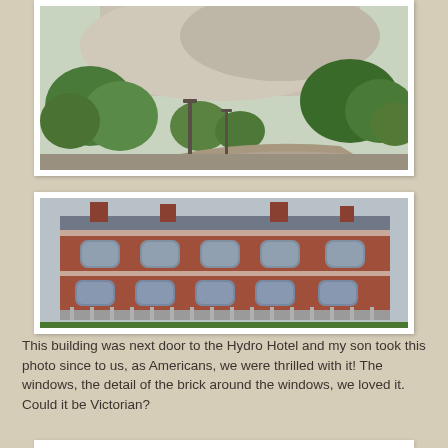[Figure (photo): Outdoor landscape photo showing white/grey chalk cliffs or quarry in background, green trees, a pathway, and lamp posts. Partial view — top portion of photo visible.]
[Figure (photo): Victorian-era red brick building with ornate architectural details including arched windows, decorative brick cornices, chimneys, and a balustrade at ground level. Multi-storey facade. Next door to the Hydro Hotel.]
This building was next door to the Hydro Hotel and my son took this photo since to us, as Americans, we were thrilled with it!  The windows, the detail of the brick around the windows, we loved it.  Could it be Victorian?